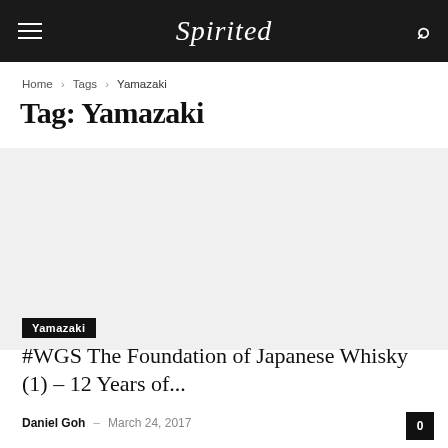Spirited
Home › Tags › Yamazaki
Tag: Yamazaki
[Figure (photo): Article thumbnail image placeholder (blank/grey)]
Yamazaki
#WGS The Foundation of Japanese Whisky (1) – 12 Years of...
Daniel Goh – March 24, 2017